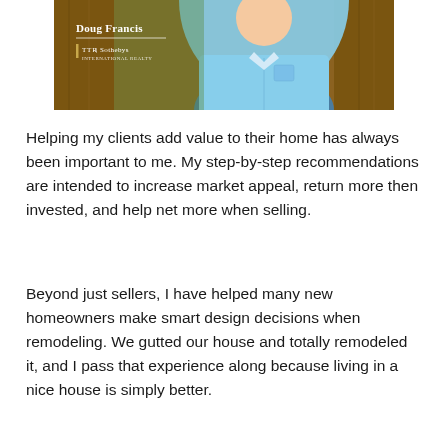[Figure (photo): Professional headshot photo of Doug Francis, a real estate agent with TTR Sotheby's International Realty. He is wearing a light blue button-down shirt and standing in front of what appears to be wooden doors or furniture. The photo has his name and branding overlaid in white text.]
Helping my clients add value to their home has always been important to me. My step-by-step recommendations are intended to increase market appeal, return more then invested, and help net more when selling.
Beyond just sellers, I have helped many new homeowners make smart design decisions when remodeling. We gutted our house and totally remodeled it, and I pass that experience along because living in a nice house is simply better.